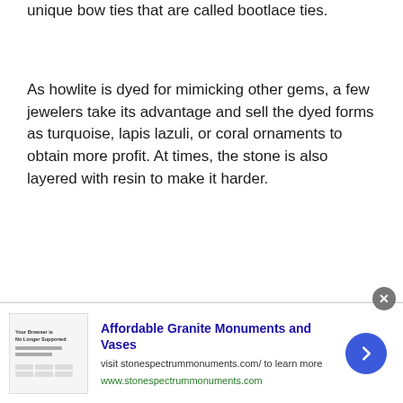unique bow ties that are called bootlace ties.
As howlite is dyed for mimicking other gems, a few jewelers take its advantage and sell the dyed forms as turquoise, lapis lazuli, or coral ornaments to obtain more profit. At times, the stone is also layered with resin to make it harder.
[Figure (other): Advertisement banner for Affordable Granite Monuments and Vases. Contains a small thumbnail image of a webpage screenshot, bold blue title text 'Affordable Granite Monuments and Vases', descriptive text 'visit stonespectrummonuments.com/ to learn more', green URL 'www.stonespectrummonuments.com', a blue circular arrow button, and an X close button.]